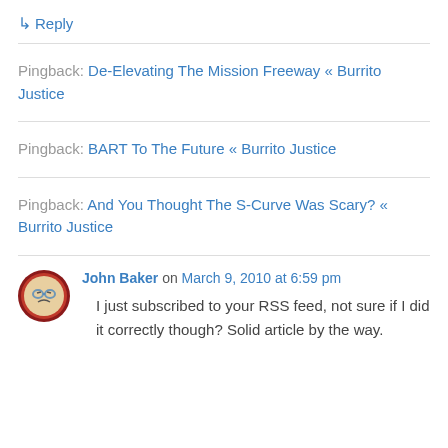↳ Reply
Pingback: De-Elevating The Mission Freeway « Burrito Justice
Pingback: BART To The Future « Burrito Justice
Pingback: And You Thought The S-Curve Was Scary? « Burrito Justice
John Baker on March 9, 2010 at 6:59 pm
I just subscribed to your RSS feed, not sure if I did it correctly though? Solid article by the way.